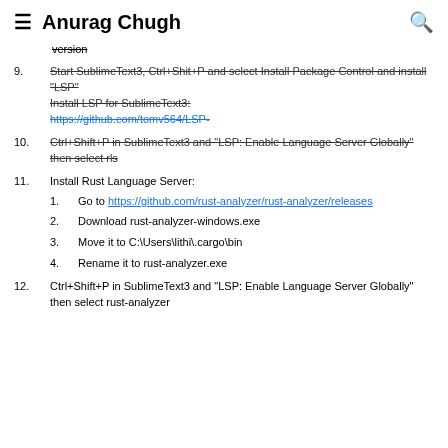Anurag Chugh
version (strikethrough)
9. Start SublimeText3, Ctrl+Shit+P and select Install Package Control and install "LSP" Install LSP for SublimeText3: https://github.com/tomv564/LSP- (all strikethrough)
10. Ctrl+Shift+P in SublimeText3 and "LSP: Enable Language Server Globally" then select rls (strikethrough)
11. Install Rust Language Server:
1. Go to https://github.com/rust-analyzer/rust-analyzer/releases
2. Download rust-analyzer-windows.exe
3. Move it to C:\Users\lithi\.cargo\bin
4. Rename it to rust-analyzer.exe
12. Ctrl+Shift+P in SublimeText3 and "LSP: Enable Language Server Globally" then select rust-analyzer